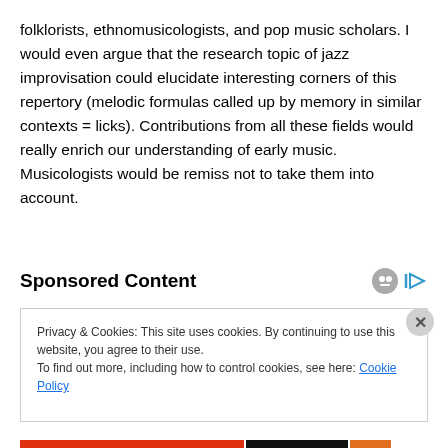folklorists, ethnomusicologists, and pop music scholars. I would even argue that the research topic of jazz improvisation could elucidate interesting corners of this repertory (melodic formulas called up by memory in similar contexts = licks). Contributions from all these fields would really enrich our understanding of early music. Musicologists would be remiss not to take them into account.
Sponsored Content
Privacy & Cookies: This site uses cookies. By continuing to use this website, you agree to their use.
To find out more, including how to control cookies, see here: Cookie Policy